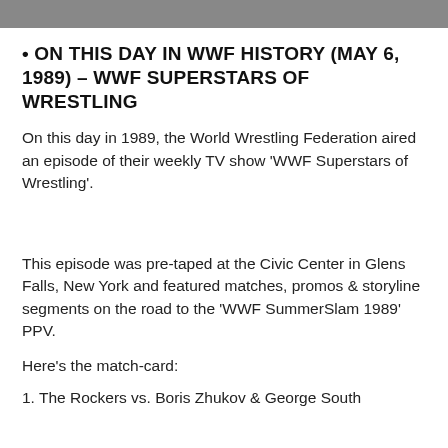[Figure (photo): Partial photo at top of page, appears to be wrestlers or wrestling-related image, cropped]
• ON THIS DAY IN WWF HISTORY (MAY 6, 1989) – WWF SUPERSTARS OF WRESTLING
On this day in 1989, the World Wrestling Federation aired an episode of their weekly TV show 'WWF Superstars of Wrestling'.
This episode was pre-taped at the Civic Center in Glens Falls, New York and featured matches, promos & storyline segments on the road to the 'WWF SummerSlam 1989' PPV.
Here's the match-card:
1. The Rockers vs. Boris Zhukov & George South